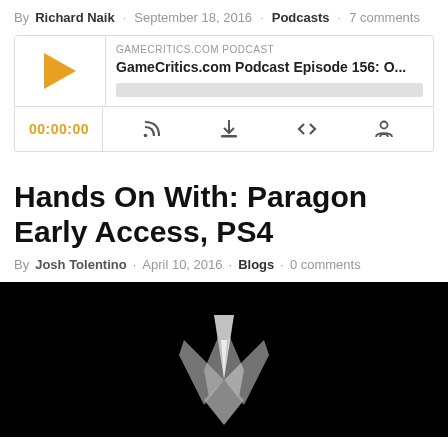By Richard Naik · September 18, 2016 · Podcasts · 7 comments
[Figure (screenshot): Podcast player widget for GameCritics.com Podcast Episode 156, showing a play button (orange triangle), episode title, progress bar, time display 00:00:00, and control icons for RSS, download, embed, and settings.]
Hands On With: Paragon Early Access, PS4
By Josh Tolentino · April 10, 2016 · Blogs · 0 comments
[Figure (photo): Dark image with a metallic silver/chrome angular logo resembling a downward-pointing arrow or chevron shape (Paragon game logo) centered on a black background.]